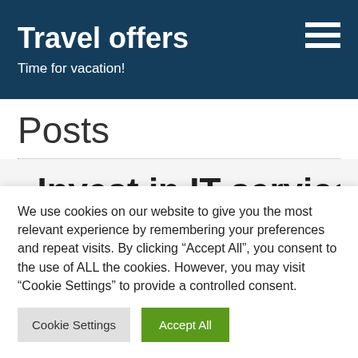Travel offers
Time for vacation!
Posts
«Invest in IT services»
We use cookies on our website to give you the most relevant experience by remembering your preferences and repeat visits. By clicking "Accept All", you consent to the use of ALL the cookies. However, you may visit "Cookie Settings" to provide a controlled consent.
Cookie Settings | Accept All